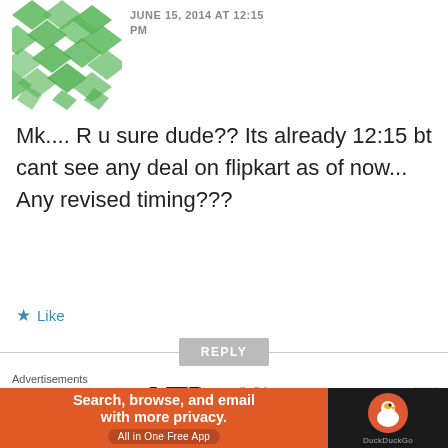[Figure (illustration): Green geometric avatar icon at top left]
JUNE 15, 2014 AT 12:15 PM
Mk.... R u sure dude?? Its already 12:15 bt cant see any deal on flipkart as of now... Any revised timing???
★ Like
REPLY
[Figure (illustration): Dark blue/purple mosaic bird avatar]
Mk
JUNE 15, 2014 AT
Advertisements
[Figure (illustration): DuckDuckGo advertisement banner: Search, browse, and email with more privacy. All in One Free App]